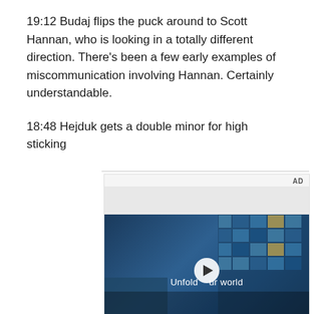19:12 Budaj flips the puck around to Scott Hannan, who is looking in a totally different direction. There's been a few early examples of miscommunication involving Hannan. Certainly understandable.
18:48 Hejduk gets a double minor for high sticking
[Figure (screenshot): Advertisement video player showing a young man in a denim jacket standing in front of a building with large blue-tinted windows. Text overlay reads 'Unfold your world' with a play button in the center. AD label in top-right.]